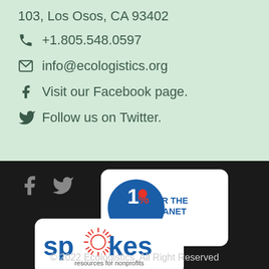103, Los Osos, CA 93402
+1.805.548.0597
info@ecologistics.org
Visit our Facebook page.
Follow us on Twitter.
[Figure (logo): 1% For The Planet badge logo - blue circle with '1%' and text 'FOR THE PLANET']
[Figure (logo): Spokes resources for nonprofits logo - blue text with starburst replacing the 'o' in spokes]
© 2022 Ecologistics, All Right Reserved